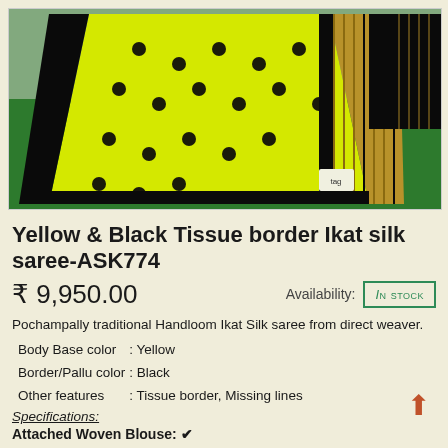[Figure (photo): Yellow and black tissue border Ikat silk saree displayed on a green surface, showing polka dot yellow fabric with black and gold woven border/pallu]
Yellow & Black Tissue border Ikat silk saree-ASK774
₹ 9,950.00   Availability: In stock
Pochampally traditional Handloom Ikat Silk saree from direct weaver.
Body Base color   : Yellow
Border/Pallu color : Black
Other features      : Tissue border, Missing lines
Specifications:
Attached Woven Blouse: ✔